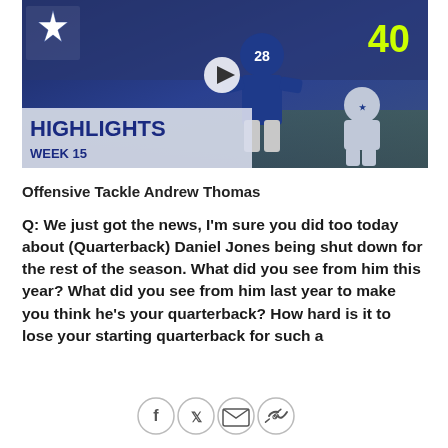[Figure (photo): NFL highlights video thumbnail showing a New York Giants running back (#28) in blue uniform being tackled by a Dallas Cowboys defender. Cowboys star logo visible top left. Score '40' in yellow-green top right. Overlay text reads 'HIGHLIGHTS WEEK 15'. Play button in center.]
Offensive Tackle Andrew Thomas
Q: We just got the news, I'm sure you did too today about (Quarterback) Daniel Jones being shut down for the rest of the season. What did you see from him this year? What did you see from him last year to make you think he's your quarterback? How hard is it to lose your starting quarterback for such a
[Figure (infographic): Social sharing icons: Facebook, Twitter, Email, Link buttons in circular outlines]